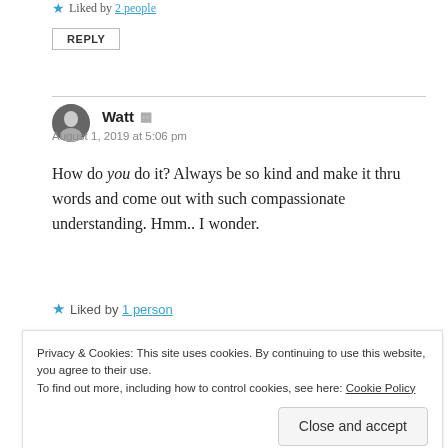★ Liked by 2 people
REPLY
Watt
August 1, 2019 at 5:06 pm
How do you do it? Always be so kind and make it thru words and come out with such compassionate understanding. Hmm.. I wonder.
★ Liked by 1 person
Privacy & Cookies: This site uses cookies. By continuing to use this website, you agree to their use. To find out more, including how to control cookies, see here: Cookie Policy
Close and accept